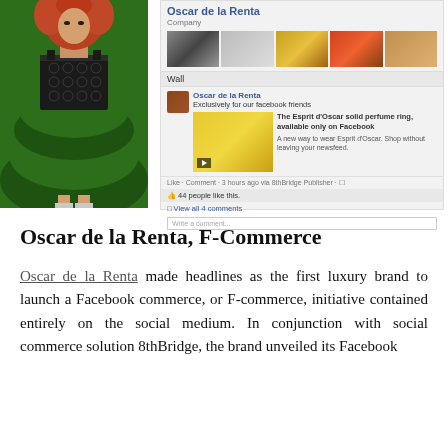[Figure (screenshot): Facebook page for Oscar de la Renta showing company header, photo strip, wall post about Esprit d'Oscar solid perfume ring with video thumbnail, likes and comments section]
[Figure (photo): Fashion model wearing a black lace top and voluminous green ball gown skirt with red curly hair]
Oscar de la Renta, F-Commerce
Oscar de la Renta made headlines as the first luxury brand to launch a Facebook commerce, or F-commerce, initiative contained entirely on the social medium. In conjunction with social commerce solution 8thBridge, the brand unveiled its Facebook